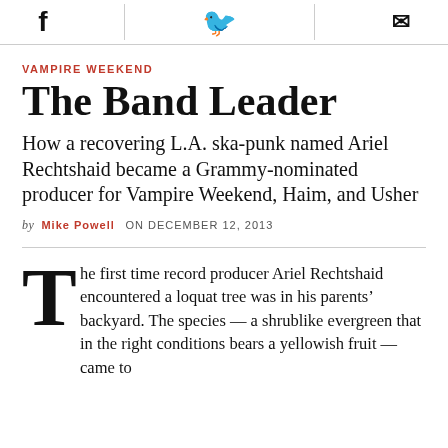[Social share icons: Facebook, Twitter, Email]
VAMPIRE WEEKEND
The Band Leader
How a recovering L.A. ska-punk named Ariel Rechtshaid became a Grammy-nominated producer for Vampire Weekend, Haim, and Usher
by MIKE POWELL  ON DECEMBER 12, 2013
The first time record producer Ariel Rechtshaid encountered a loquat tree was in his parents' backyard. The species — a shrublike evergreen that in the right conditions bears a yellowish fruit — came to